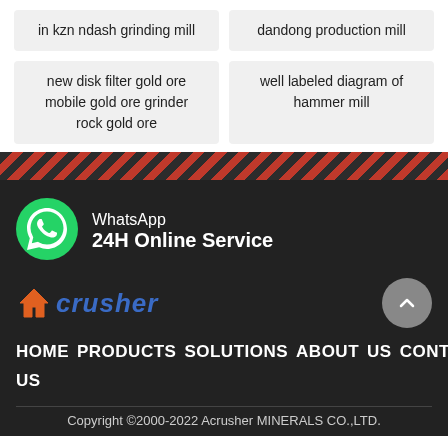in kzn ndash grinding mill
dandong production mill
new disk filter gold ore mobile gold ore grinder rock gold ore
well labeled diagram of hammer mill
[Figure (infographic): Diagonal red/dark stripe divider bar]
WhatsApp 24H Online Service
[Figure (logo): Acrusher logo with house icon and crusher text in blue italic]
HOME PRODUCTS SOLUTIONS ABOUT US CONTACT US
Copyright ©2000-2022 Acrusher MINERALS CO.,LTD.